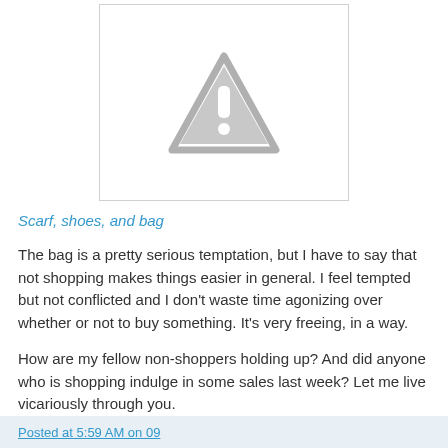[Figure (other): Broken image placeholder with gray warning triangle and exclamation mark icon on white background with light gray border]
Scarf, shoes, and bag
The bag is a pretty serious temptation, but I have to say that not shopping makes things easier in general. I feel tempted but not conflicted and I don't waste time agonizing over whether or not to buy something. It's very freeing, in a way.
How are my fellow non-shoppers holding up? And did anyone who is shopping indulge in some sales last week? Let me live vicariously through you.
Posted at 5:59 AM on 09